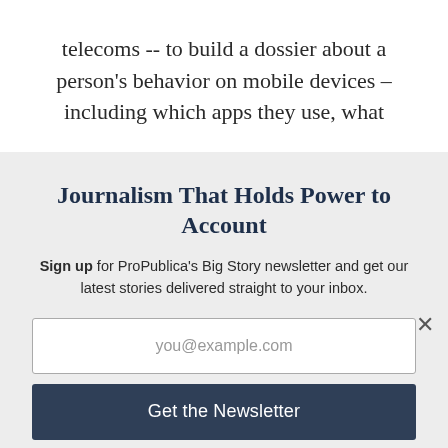telecoms -- to build a dossier about a person's behavior on mobile devices – including which apps they use, what
Journalism That Holds Power to Account
Sign up for ProPublica's Big Story newsletter and get our latest stories delivered straight to your inbox.
you@example.com
Get the Newsletter
No thanks, I'm all set
This site is protected by reCAPTCHA and the Google Privacy Policy and Terms of Service apply.